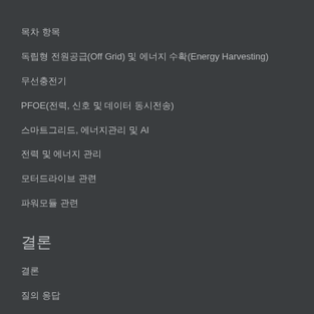목차 항목
독립형 전원공급(Off Grid) 및 에너지 수확(Energy Harvesting)
무선충전기
PFOE(전력, 신호 및 데이터 동시전송)
스마트그리드, 에너지관리 및 AI
전력 및 에너지 관리
모터드라이브 관련
파워모듈 관련
결론
결론
질의 응답